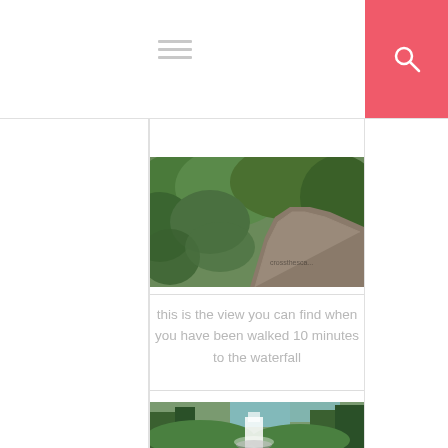[Figure (screenshot): Top navigation bar with hamburger menu icon on the left and a pink/red search button with magnifying glass icon on the right]
[Figure (screenshot): Second hamburger menu icon below the navigation bar, on the left side]
[Figure (photo): Aerial or trail-level view of a walking path through dense green vegetation/forest]
this is the view you can find when you have been walked 10 minutes to the waterfall
[Figure (photo): A waterfall cascading through a forested ravine with green trees and blue sky visible]